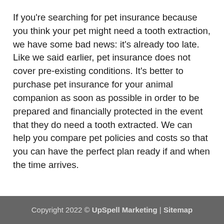If you're searching for pet insurance because you think your pet might need a tooth extraction, we have some bad news: it's already too late. Like we said earlier, pet insurance does not cover pre-existing conditions. It's better to purchase pet insurance for your animal companion as soon as possible in order to be prepared and financially protected in the event that they do need a tooth extracted. We can help you compare pet policies and costs so that you can have the perfect plan ready if and when the time arrives.
Copyright 2022 © UpSpell Marketing | Sitemap